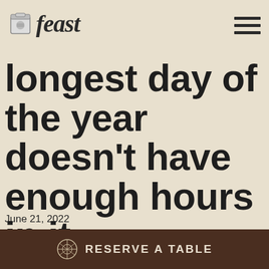feast
Sometimes, even the
longest day of the year doesn't have enough hours in it.
June 21, 2022
Reserve a Table